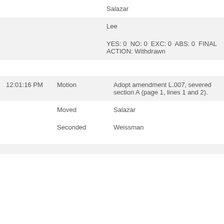|  |  | Salazar |
|  |  | Lee |
|  |  | YES: 0  NO: 0  EXC: 0  ABS: 0  FINAL ACTION: Withdrawn |
| 12:01:16 PM | Motion | Adopt amendment L.007, severed section A (page 1, lines 1 and 2). |
|  | Moved | Salazar |
|  | Seconded | Weissman |